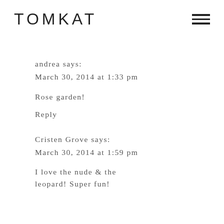TOMKAT
andrea says:
March 30, 2014 at 1:33 pm
Rose garden!
Reply
Cristen Grove says:
March 30, 2014 at 1:59 pm
I love the nude & the leopard! Super fun!